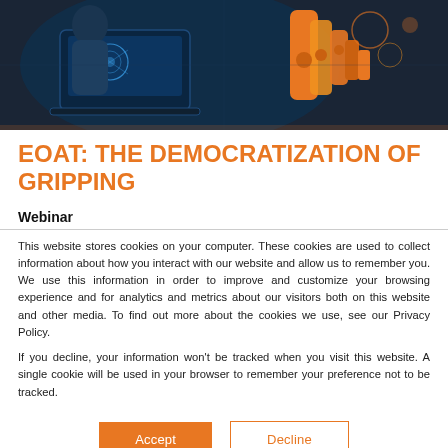[Figure (photo): Hero image showing a person working on a laptop with a holographic interface, alongside a yellow robotic arm, on a dark industrial background.]
EOAT: THE DEMOCRATIZATION OF GRIPPING
Webinar
This website stores cookies on your computer. These cookies are used to collect information about how you interact with our website and allow us to remember you. We use this information in order to improve and customize your browsing experience and for analytics and metrics about our visitors both on this website and other media. To find out more about the cookies we use, see our Privacy Policy.
If you decline, your information won't be tracked when you visit this website. A single cookie will be used in your browser to remember your preference not to be tracked.